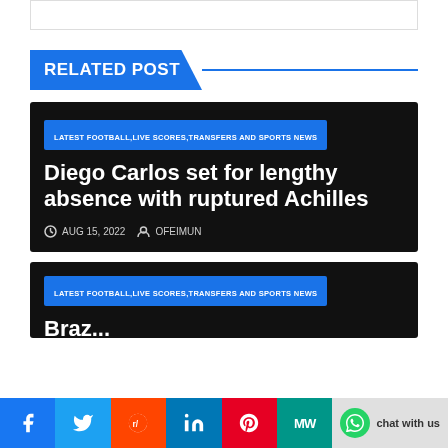RELATED POST
Diego Carlos set for lengthy absence with ruptured Achilles
LATEST FOOTBALL,LIVE SCORES,TRANSFERS AND SPORTS NEWS
AUG 15, 2022   OFEIMUN
LATEST FOOTBALL,LIVE SCORES,TRANSFERS AND SPORTS NEWS